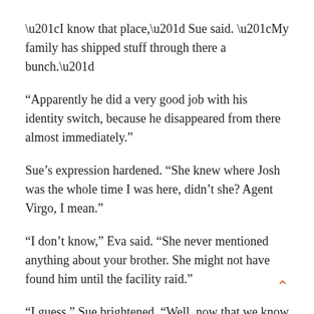“I know that place,” Sue said. “My family has shipped stuff through there a bunch.”
“Apparently he did a very good job with his identity switch, because he disappeared from there almost immediately.”
Sue’s expression hardened. “She knew where Josh was the whole time I was here, didn’t she? Agent Virgo, I mean.”
“I don’t know,” Eva said. “She never mentioned anything about your brother. She might not have found him until the facility raid.”
“I guess.” Sue brightened. “Well, now that we know he got away from The Fridge, we can stop looking for him there.”
“Right.”